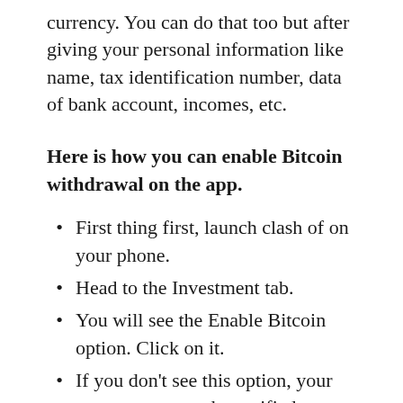currency. You can do that too but after giving your personal information like name, tax identification number, data of bank account, incomes, etc.
Here is how you can enable Bitcoin withdrawal on the app.
First thing first, launch clash of on your phone.
Head to the Investment tab.
You will see the Enable Bitcoin option. Click on it.
If you don't see this option, your account may not be verified.